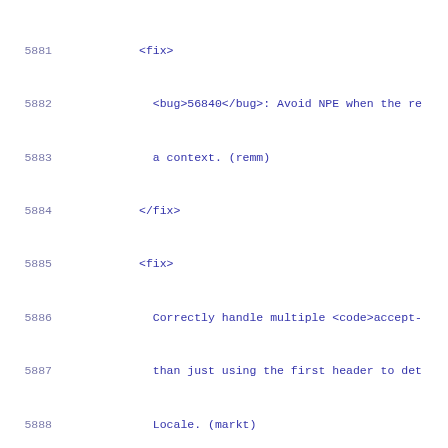Code listing lines 5881-5901 showing XML changelog entries with fix and bug tags
5881    <fix>
5882      <bug>56840</bug>: Avoid NPE when the re
5883      a context. (remm)
5884    </fix>
5885    <fix>
5886      Correctly handle multiple <code>accept-
5887      than just using the first header to det
5888      Locale. (markt)
5889    </fix>
5890    <fix>
5891      <bug>56848</bug>: Improve handling of <
5892      headers. (markt)
5893    </fix>
5894    <fix>
5895      <bug>56857</bug>: Fix thread safety iss
5896      methods while running under a security
5897    </fix>
5898  </changelog>
5899  </subsection>
5900  <subsection name="Coyote">
5901    <changelog>